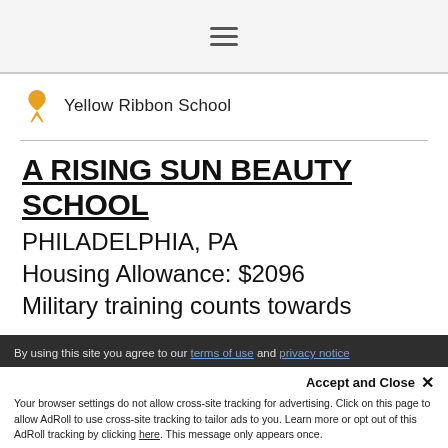[Figure (other): Hamburger menu icon (three horizontal lines) in a light gray bar at top of page]
[Figure (logo): Yellow ribbon icon (awareness ribbon in orange/gold color) next to 'Yellow Ribbon School' text]
Yellow Ribbon School
A RISING SUN BEAUTY SCHOOL
PHILADELPHIA, PA
Housing Allowance: $2096
Military training counts towards
By using this site you agree to our terms of use and privacy notice
Accept and Close ✕
Your browser settings do not allow cross-site tracking for advertising. Click on this page to allow AdRoll to use cross-site tracking to tailor ads to you. Learn more or opt out of this AdRoll tracking by clicking here. This message only appears once.